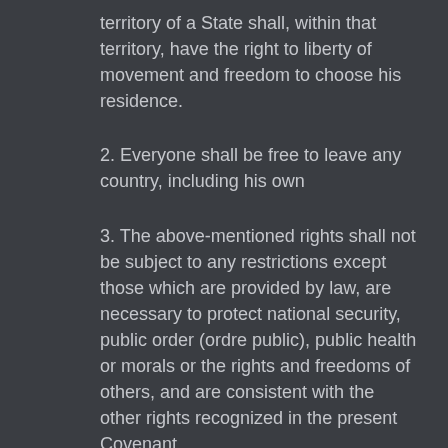territory of a State shall, within that territory, have the right to liberty of movement and freedom to choose his residence.
2. Everyone shall be free to leave any country, including his own
3. The above-mentioned rights shall not be subject to any restrictions except those which are provided by law, are necessary to protect national security, public order (ordre public), public health or morals or the rights and freedoms of others, and are consistent with the other rights recognized in the present Covenant